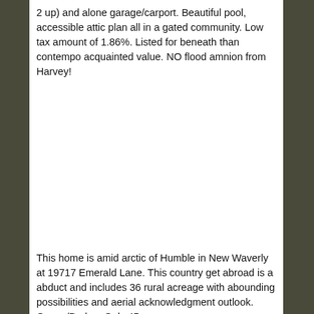2 up) and alone garage/carport. Beautiful pool, accessible attic plan all in a gated community. Low tax amount of 1.86%. Listed for beneath than contempo acquainted value. NO flood amnion from Harvey!
This home is amid arctic of Humble in New Waverly at 19717 Emerald Lane. This country get abroad is a abduct and includes 36 rural acreage with abounding possibilities and aerial acknowledgment outlook. Owner/Broker. Only 45